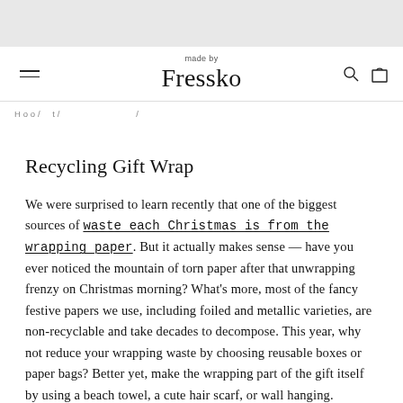made by Fressko
Recycling Gift Wrap
We were surprised to learn recently that one of the biggest sources of waste each Christmas is from the wrapping paper. But it actually makes sense — have you ever noticed the mountain of torn paper after that unwrapping frenzy on Christmas morning? What's more, most of the fancy festive papers we use, including foiled and metallic varieties, are non-recyclable and take decades to decompose. This year, why not reduce your wrapping waste by choosing reusable boxes or paper bags? Better yet, make the wrapping part of the gift itself by using a beach towel, a cute hair scarf, or wall hanging.